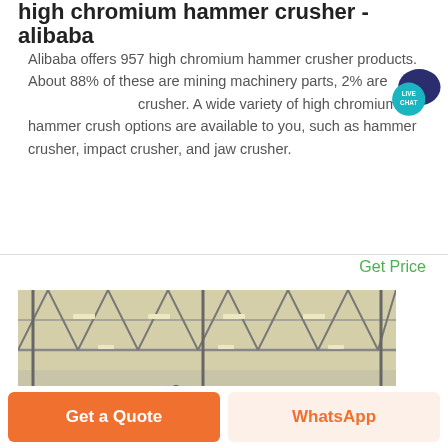high chromium hammer crusher - alibaba
Alibaba offers 957 high chromium hammer crusher products. About 88% of these are mining machinery parts, 2% are crusher. A wide variety of high chromium hammer crusher options are available to you, such as hammer crusher, impact crusher, and jaw crusher.
Get Price
[Figure (photo): Interior of a factory or warehouse showing steel roof trusses and industrial lighting from a low angle.]
Get a Quote
WhatsApp